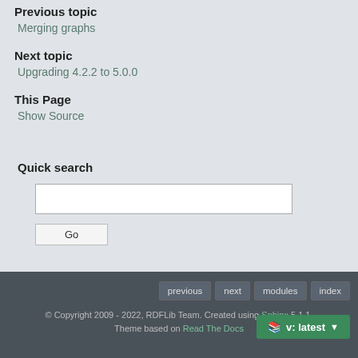Previous topic
Merging graphs
Next topic
Upgrading 4.2.2 to 5.0.0
This Page
Show Source
Quick search
Go
previous  next  modules  index  v: latest  © Copyright 2009 - 2022, RDFLib Team. Created using Sphinx 5.1.1. Theme based on Read The Docs